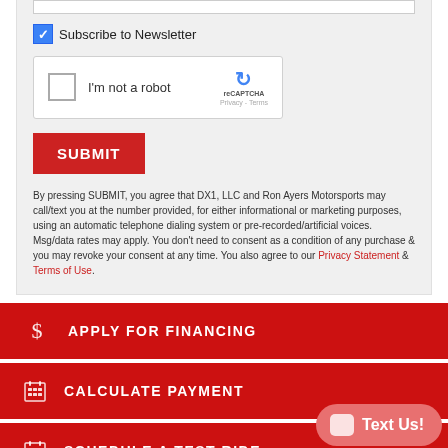[Figure (screenshot): Checkbox labeled Subscribe to Newsletter with blue checkmark]
[Figure (screenshot): reCAPTCHA widget with unchecked checkbox, I'm not a robot text, reCAPTCHA logo and Privacy/Terms links]
[Figure (screenshot): Red SUBMIT button]
By pressing SUBMIT, you agree that DX1, LLC and Ron Ayers Motorsports may call/text you at the number provided, for either informational or marketing purposes, using an automatic telephone dialing system or pre-recorded/artificial voices. Msg/data rates may apply. You don't need to consent as a condition of any purchase & you may revoke your consent at any time. You also agree to our Privacy Statement & Terms of Use.
$ APPLY FOR FINANCING
CALCULATE PAYMENT
SCHEDULE A TEST RIDE